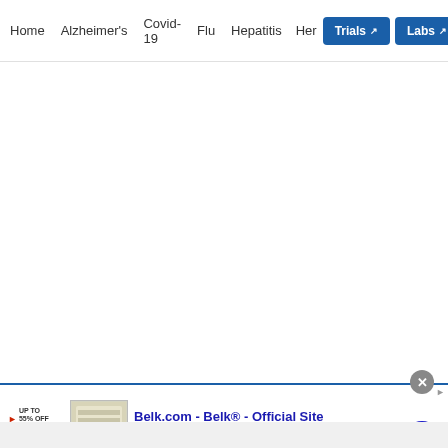Home  Alzheimer's  Covid-19  Flu  Hepatitis  Her  Trials  Labs
[Figure (screenshot): White blank content area between nav and ad]
[Figure (screenshot): Advertisement banner for Belk.com showing product thumbnails, title 'Belk.com - Belk® - Official Site', description 'Shop for clothing, handbags, jewelry, beauty, home & more!', URL www.belk.com, and a blue navigation arrow button]